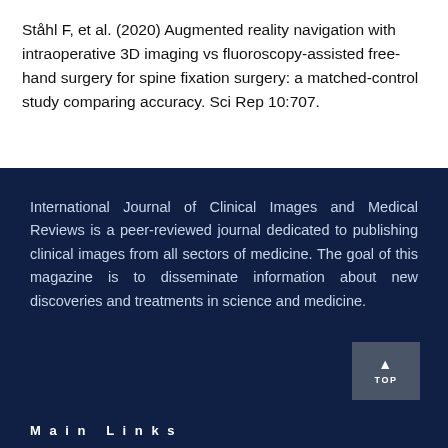Ståhl F, et al. (2020) Augmented reality navigation with intraoperative 3D imaging vs fluoroscopy-assisted free-hand surgery for spine fixation surgery: a matched-control study comparing accuracy. Sci Rep 10:707.
International Journal of Clinical Images and Medical Reviews is a peer-reviewed journal dedicated to publishing clinical images from all sectors of medicine. The goal of this magazine is to disseminate information about new discoveries and treatments in science and medicine.
Main Links